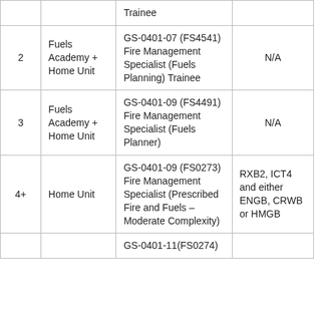|  |  |  |  |
| --- | --- | --- | --- |
| 2 | Fuels Academy + Home Unit | GS-0401-07 (FS4541) Fire Management Specialist (Fuels Planning) Trainee | N/A |
| 3 | Fuels Academy + Home Unit | GS-0401-09 (FS4491) Fire Management Specialist (Fuels Planner) | N/A |
| 4+ | Home Unit | GS-0401-09 (FS0273) Fire Management Specialist (Prescribed Fire and Fuels – Moderate Complexity) | RXB2, ICT4 and either ENGB, CRWB or HMGB |
|  |  | GS-0401-11(FS0274) |  |